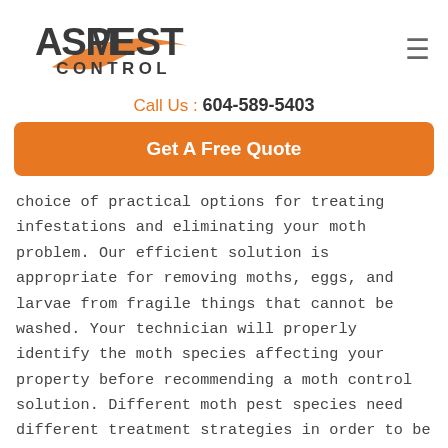[Figure (logo): ASM Pest Control logo with orange swoosh graphic and dark gray bold text]
Call Us : 604-589-5403
Get A Free Quote
choice of practical options for treating infestations and eliminating your moth problem. Our efficient solution is appropriate for removing moths, eggs, and larvae from fragile things that cannot be washed. Your technician will properly identify the moth species affecting your property before recommending a moth control solution. Different moth pest species need different treatment strategies in order to be effectively controlled. Following that, moth issues are